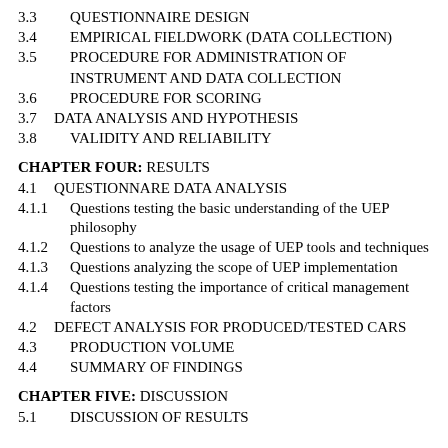3.3    QUESTIONNAIRE DESIGN
3.4    EMPIRICAL FIELDWORK (DATA COLLECTION)
3.5    PROCEDURE FOR ADMINISTRATION OF INSTRUMENT AND DATA COLLECTION
3.6    PROCEDURE FOR SCORING
3.7 DATA ANALYSIS AND HYPOTHESIS
3.8    VALIDITY AND RELIABILITY
CHAPTER FOUR: RESULTS
4.1 QUESTIONNARE DATA ANALYSIS
4.1.1    Questions testing the basic understanding of the UEP philosophy
4.1.2    Questions to analyze the usage of UEP tools and techniques
4.1.3    Questions analyzing the scope of UEP implementation
4.1.4    Questions testing the importance of critical management factors
4.2 DEFECT ANALYSIS FOR PRODUCED/TESTED CARS
4.3    PRODUCTION VOLUME
4.4    SUMMARY OF FINDINGS
CHAPTER FIVE: DISCUSSION
5.1    DISCUSSION OF RESULTS